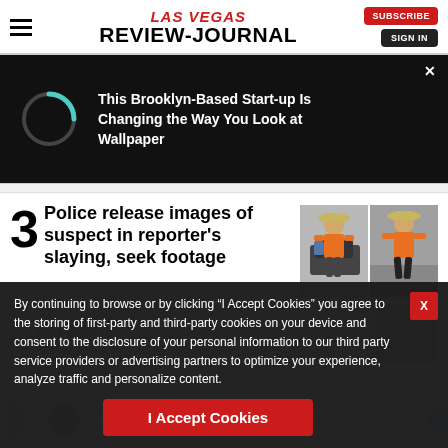Las Vegas Review-Journal
[Figure (screenshot): Advertisement banner with dark background, loading spinner, and text 'This Brooklyn-Based Start-up Is Changing the Way You Look at Wallpaper']
3 Police release images of suspect in reporter's slaying, seek footage
[Figure (photo): Two photos side by side of a suspect wearing an orange vest and wide-brimmed hat]
New Las Vegas resident
Mark Wahl
'Hollywood 2.0'
By continuing to browse or by clicking “I Accept Cookies” you agree to the storing of first-party and third-party cookies on your device and consent to the disclosure of your personal information to our third party service providers or advertising partners to optimize your experience, analyze traffic and personalize content.
I Accept Cookies
Get Up To 40% Off 3 out of 4 Select Aromas Free